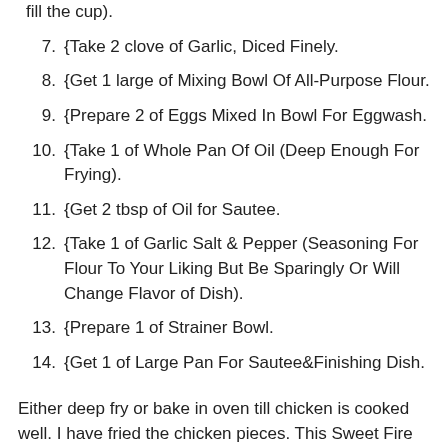fill the cup).
7. {Take 2 clove of Garlic, Diced Finely.
8. {Get 1 large of Mixing Bowl Of All-Purpose Flour.
9. {Prepare 2 of Eggs Mixed In Bowl For Eggwash.
10. {Take 1 of Whole Pan Of Oil (Deep Enough For Frying).
11. {Get 2 tbsp of Oil for Sautee.
12. {Take 1 of Garlic Salt & Pepper (Seasoning For Flour To Your Liking But Be Sparingly Or Will Change Flavor of Dish).
13. {Prepare 1 of Strainer Bowl.
14. {Get 1 of Large Pan For Sautee&Finishing Dish.
Either deep fry or bake in oven till chicken is cooked well. I have fried the chicken pieces. This Sweet Fire Chicken